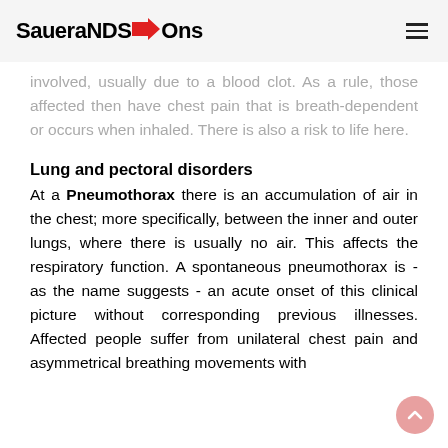SaueraNDS→Ons
involved, usually due to a blood clot. As a rule, those affected then have chest pain that is breath-dependent or occurs when inhaled. There is also a risk to life here.
Lung and pectoral disorders
At a Pneumothorax there is an accumulation of air in the chest; more specifically, between the inner and outer lungs, where there is usually no air. This affects the respiratory function. A spontaneous pneumothorax is - as the name suggests - an acute onset of this clinical picture without corresponding previous illnesses. Affected people suffer from unilateral chest pain and asymmetrical breathing movements with